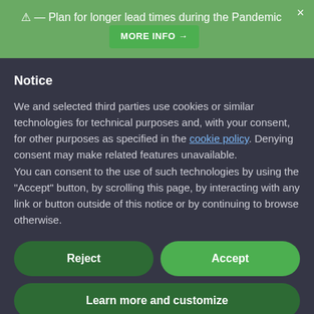⚠ — Plan for longer lead times during the Pandemic MORE INFO →
Notice
We and selected third parties use cookies or similar technologies for technical purposes and, with your consent, for other purposes as specified in the cookie policy. Denying consent may make related features unavailable.
You can consent to the use of such technologies by using the "Accept" button, by scrolling this page, by interacting with any link or button outside of this notice or by continuing to browse otherwise.
Reject
Accept
Learn more and customize